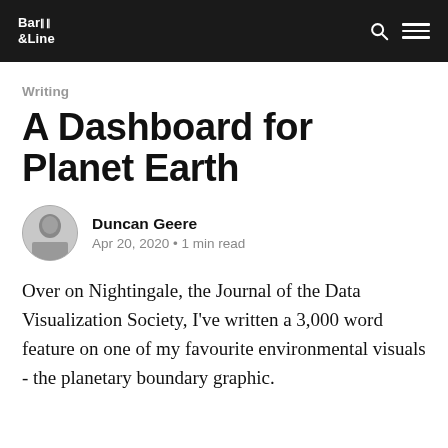Bar & Line
Writing
A Dashboard for Planet Earth
Duncan Geere
Apr 20, 2020 • 1 min read
Over on Nightingale, the Journal of the Data Visualization Society, I've written a 3,000 word feature on one of my favourite environmental visuals - the planetary boundary graphic.